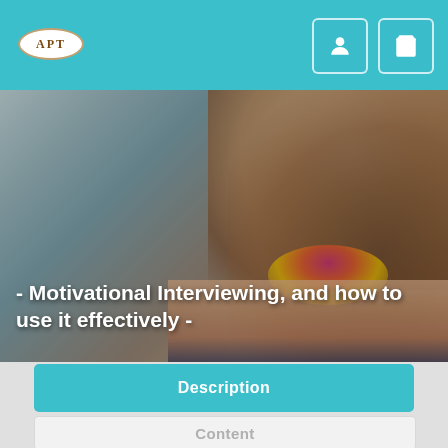[Figure (logo): APT logo oval in white with brown border on teal navigation bar]
[Figure (screenshot): Navigation bar with user account icon and shopping cart icon buttons on teal background]
[Figure (photo): Hero background image of a smiling woman with long brown hair wearing a colorful necklace and pink scarf, with a semi-transparent dark overlay]
- Motivational Interviewing, and how to use it effectively -
Description
Content